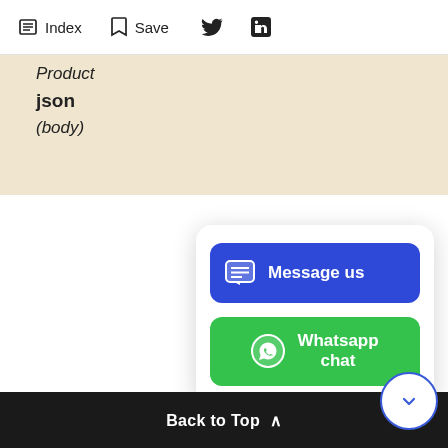Index  Save
| Product | json | (body) |
| --- | --- | --- |
[Figure (screenshot): Chat popup card with two buttons: 'Message us' (blue) and 'Whatsapp chat' (green)]
Back to Top ^